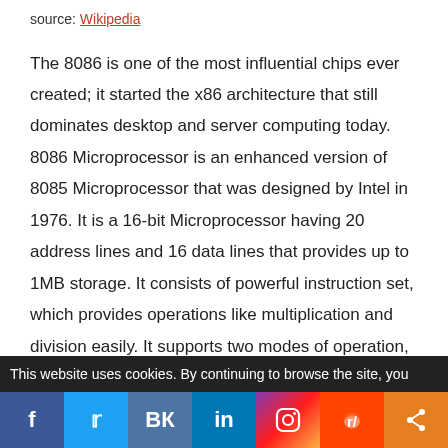source: Wikipedia
The 8086 is one of the most influential chips ever created; it started the x86 architecture that still dominates desktop and server computing today. 8086 Microprocessor is an enhanced version of 8085 Microprocessor that was designed by Intel in 1976. It is a 16-bit Microprocessor having 20 address lines and 16 data lines that provides up to 1MB storage. It consists of powerful instruction set, which provides operations like multiplication and division easily. It supports two modes of operation, i.e. Maximum mode and Minimum mode. Maximum mode is suitable for system having multiple processors and Minimum mode is suitable for system
This website uses cookies. By continuing to browse the site, you
f  𝕏  ВК  in  Instagram  Reddit  Share